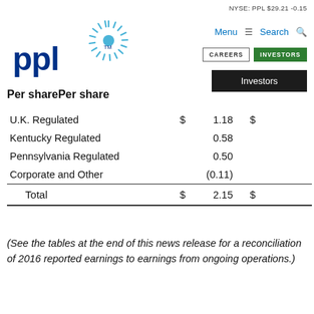NYSE: PPL $29.21 -0.15
[Figure (logo): PPL corporation logo with blue text 'ppl' and sunburst graphic]
Menu ≡  Search 🔍  CAREERS  INVESTORS  Investors
Per sharePer share
|  | $ | Per share | $ | Per share |
| --- | --- | --- | --- | --- |
| U.K. Regulated | $ | 1.18 | $ |  |
| Kentucky Regulated |  | 0.58 |  |  |
| Pennsylvania Regulated |  | 0.50 |  |  |
| Corporate and Other |  | (0.11) |  |  |
| Total | $ | 2.15 | $ |  |
(See the tables at the end of this news release for a reconciliation of 2016 reported earnings to earnings from ongoing operations.)